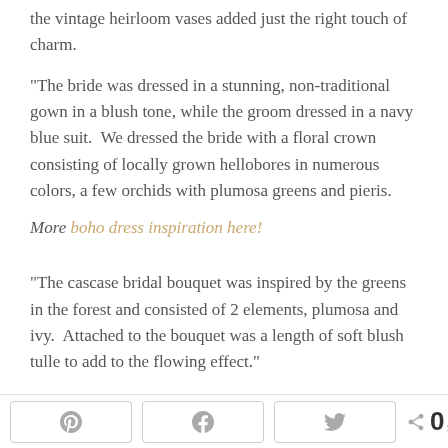the vintage heirloom vases added just the right touch of charm.
“The bride was dressed in a stunning, non-traditional gown in a blush tone, while the groom dressed in a navy blue suit.  We dressed the bride with a floral crown consisting of locally grown hellobores in numerous colors, a few orchids with plumosa greens and pieris.
More boho dress inspiration here!
“The cascase bridal bouquet was inspired by the greens in the forest and consisted of 2 elements, plumosa and ivy.  Attached to the bouquet was a length of soft blush tulle to add to the flowing effect.”